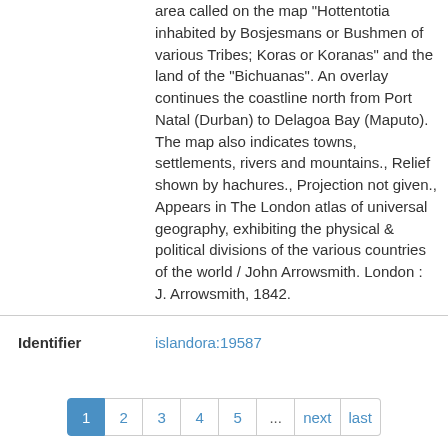area called on the map "Hottentotia inhabited by Bosjesmans or Bushmen of various Tribes; Koras or Koranas" and the land of the "Bichuanas". An overlay continues the coastline north from Port Natal (Durban) to Delagoa Bay (Maputo). The map also indicates towns, settlements, rivers and mountains., Relief shown by hachures., Projection not given., Appears in The London atlas of universal geography, exhibiting the physical & political divisions of the various countries of the world / John Arrowsmith. London : J. Arrowsmith, 1842.
|  |  |
| --- | --- |
| Identifier | islandora:19587 |
1 2 3 4 5 ... next last